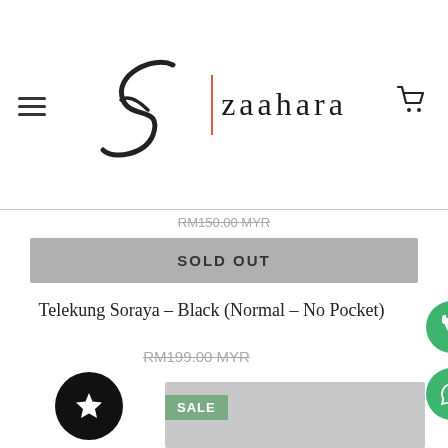[Figure (logo): Zaahara brand logo with stylized Z and brand name 'zaahara' plus hamburger menu and cart icon]
RM150.00 MYR (strikethrough)
SOLD OUT
Telekung Soraya - Black (Normal - No Pocket)
RM199.00 MYR (strikethrough)
[Figure (screenshot): Product image placeholder (grey rectangle) with SALE badge and star icon badge. Green phone and WhatsApp circular buttons on right. Judge.me Reviews tab on far right.]